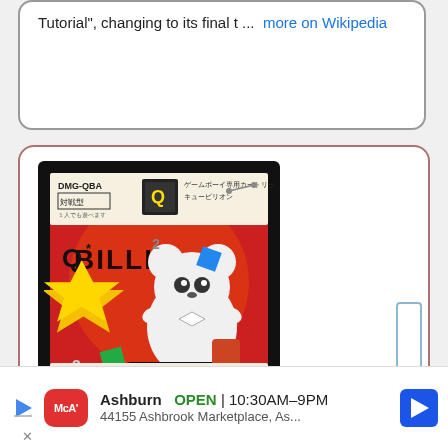Tutorial", changing to its final t ...  more on Wikipedia
[Figure (photo): Game Boy cartridge box art for QBillion (Q*Billion) by Seta, showing a cartoon mouse character on a skateboard with colorful geometric shapes on a red background. Text includes DMG-QBA, Game Boy, and Seta logo.]
QBillion
Ashburn  OPEN | 10:30AM–9PM
44155 Ashbrook Marketplace, As...